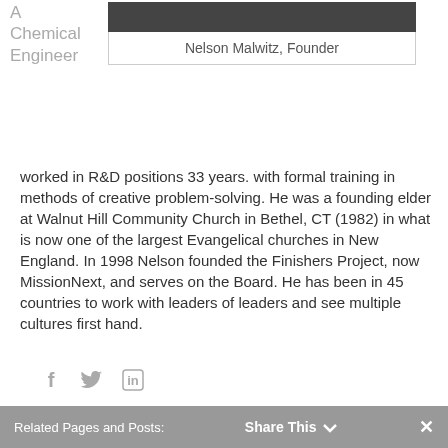A Chemical Engineer
[Figure (photo): Dark/black photo of Nelson Malwitz]
Nelson Malwitz, Founder
worked in R&D positions 33 years. with formal training in methods of creative problem-solving. He was a founding elder at Walnut Hill Community Church in Bethel, CT (1982) in what is now one of the largest Evangelical churches in New England. In 1998 Nelson founded the Finishers Project, now MissionNext, and serves on the Board. He has been in 45 countries to work with leaders of leaders and see multiple cultures first hand.
[Figure (other): Social media icons: Facebook (f), Twitter (bird), LinkedIn (in)]
Related Pages and Posts:   Share This   ✓   ✕